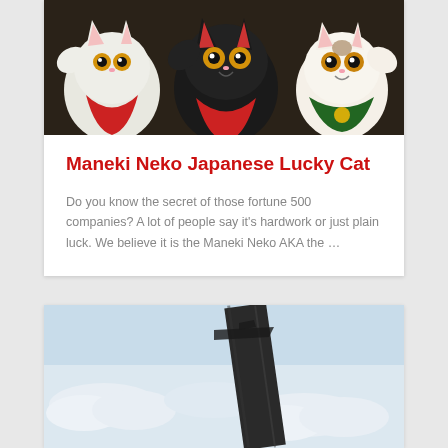[Figure (photo): Photo of multiple Maneki Neko (Japanese lucky cat) figurines — black and white ceramic cats with raised paws, large golden eyes, and colorful accessories including bells and bibs]
Maneki Neko Japanese Lucky Cat
Do you know the secret of those fortune 500 companies? A lot of people say it's hardwork or just plain luck. We believe it is the Maneki Neko AKA the …
[Figure (photo): Photo of what appears to be an airplane or aircraft against a pale sky with clouds, with a dark diagonal element (possibly a wing or fuselage) prominent in the center]